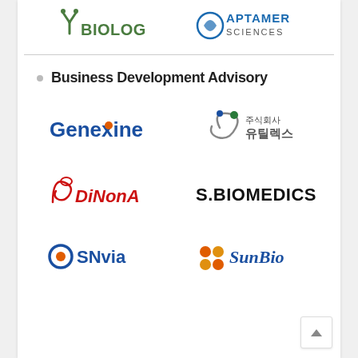[Figure (logo): Y-Biologics logo (top left, partial)]
[Figure (logo): Aptamer Sciences logo (top right, partial)]
Business Development Advisory
[Figure (logo): Genexine logo]
[Figure (logo): 주식회사 유틸렉스 logo]
[Figure (logo): DiNonA logo]
[Figure (logo): S.BIOMEDICS logo]
[Figure (logo): SNvia logo]
[Figure (logo): SunBio logo]